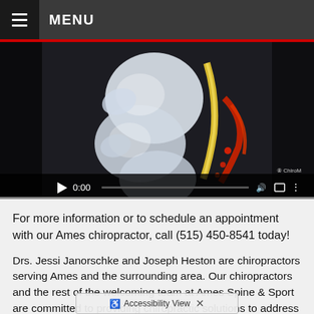MENU
[Figure (screenshot): Medical animation screenshot showing spinal vertebrae with yellow nerve and red blood vessels on dark background. Video player controls show 0:00 timestamp with play button, progress bar, volume, fullscreen, and more options icons. ChiroM logo visible at lower right of video.]
For more information or to schedule an appointment with our Ames chiropractor, call (515) 450-8541 today!
Drs. Jessi Janorschke and Joseph Heston are chiropractors serving Ames and the surrounding area. Our chiropractors and the rest of the welcoming team at Ames Spine & Sport are committed to providing chiropractic solutions to address your unique needs, whether you are experiencing back pain, neck pain, headaches, or even muscular tightness and tension. You may be searching for pain relief after an accident, experiencing an injury, or if
Accessibility View